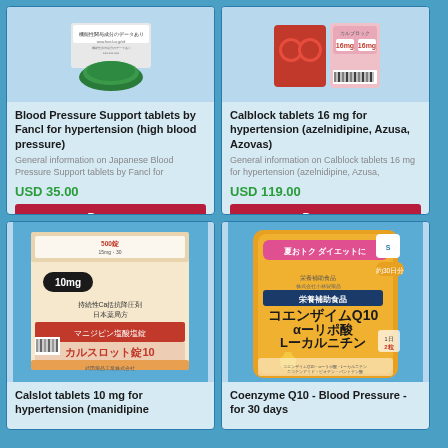[Figure (photo): Blood Pressure Support tablets by Fancl – green package with Japanese text]
Blood Pressure Support tablets by Fancl for hypertension (high blood pressure)
General information on Japanese Blood Pressure Support tablets by Fancl for
USD 35.00
Buy now
[Figure (photo): Calblock tablets 16 mg – red and pink blister pack with Calblock branding]
Calblock tablets 16 mg for hypertension (azelnidipine, Azusa, Azovas)
General information on Calblock tablets 16 mg for hypertension (azelnidipine, Azusa,
USD 119.00
Buy now
[Figure (photo): Calslot tablets 10 mg box – white and orange Japanese pharmaceutical box with Japanese text カルスロット錠10]
Calslot tablets 10 mg for hypertension (manidipine
[Figure (photo): Coenzyme Q10 supplement bag – yellow packaging with Japanese text コエンザイムQ10 αーリポ酸 Lーカルニチン, 30 days supply]
Coenzyme Q10 - Blood Pressure - for 30 days